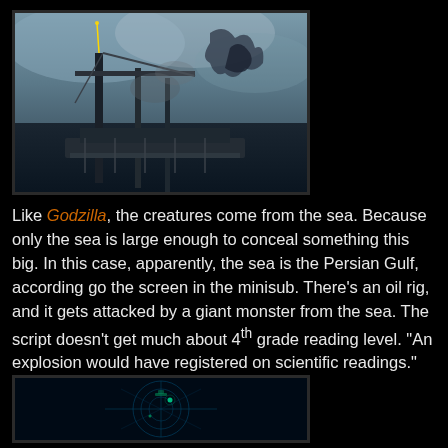[Figure (screenshot): Screenshot from a movie or TV show showing an oil rig being attacked, with industrial crane structures and a large creature visible in a misty/cloudy background]
Like Godzilla, the creatures come from the sea. Because only the sea is large enough to conceal something this big. In this case, apparently, the sea is the Persian Gulf, according go the screen in the minisub. There's an oil rig, and it gets attacked by a giant monster from the sea. The script doesn't get much about 4th grade reading level. "An explosion would have registered on scientific readings." says the science advisor.
[Figure (screenshot): Screenshot showing a radar or sonar display screen with a dark blue/green tinted interface showing grid lines and possibly vessel or target indicators]